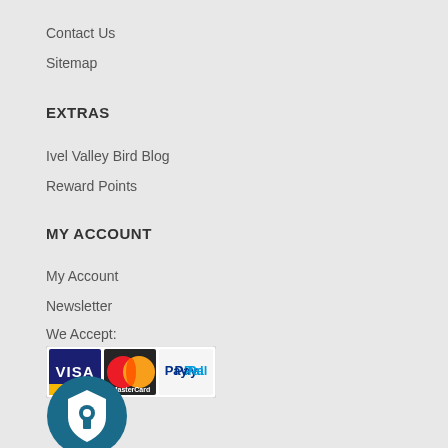Contact Us
Sitemap
EXTRAS
Ivel Valley Bird Blog
Reward Points
MY ACCOUNT
My Account
Newsletter
We Accept:
[Figure (logo): Payment method logos: Visa, MasterCard, PayPal]
[Figure (logo): Circular teal shield/security icon]